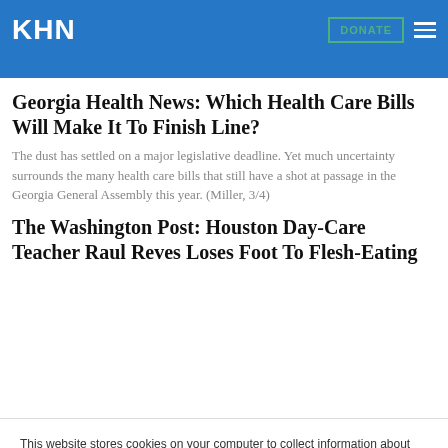KHN
Georgia Health News: Which Health Care Bills Will Make It To Finish Line?
The dust has settled on a major legislative deadline. Yet much uncertainty surrounds the many health care bills that still have a shot at passage in the Georgia General Assembly this year. (Miller, 3/4)
The Washington Post: Houston Day-Care Teacher Raul Reves Loses Foot To Flesh-Eating
This website stores cookies on your computer to collect information about how you interact with our website. We use this information in order to improve and customize your browsing experience and for analytics and metrics about our visitors both on this website and other media. To find out more about the cookies we use, see our Privacy Policy.